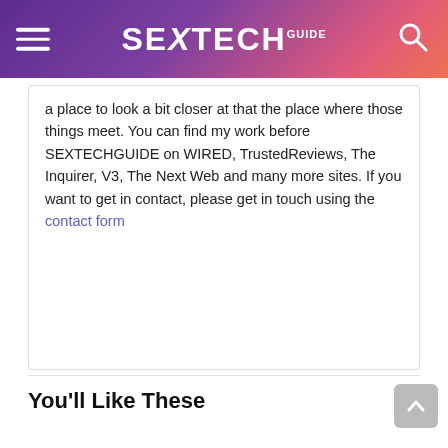SEXTECHGUIDE
a place to look a bit closer at that the place where those things meet. You can find my work before SEXTECHGUIDE on WIRED, TrustedReviews, The Inquirer, V3, The Next Web and many more sites. If you want to get in contact, please get in touch using the contact form
You'll Like These